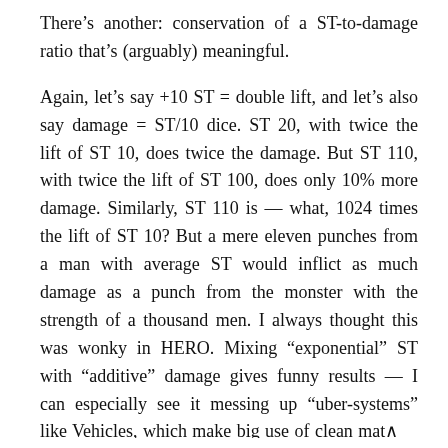There’s another: conservation of a ST-to-damage ratio that’s (arguably) meaningful.
Again, let’s say +10 ST = double lift, and let’s also say damage = ST/10 dice. ST 20, with twice the lift of ST 10, does twice the damage. But ST 110, with twice the lift of ST 100, does only 10% more damage. Similarly, ST 110 is — what, 1024 times the lift of ST 10? But a mere eleven punches from a man with average ST would inflict as much damage as a punch from the monster with the strength of a thousand men. I always thought this was wonky in HERO. Mixing “exponential” ST with “additive” damage gives funny results — I can especially see it messing up “uber-systems” like Vehicles, which make big use of clean math
Even tougher: How do you solve the low-ST issue, where half normal ST would inflict 0 dam, and lesser ST would